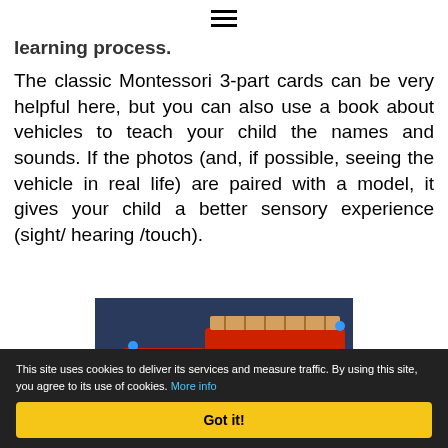☰ (navigation menu icon)
learning process.
The classic Montessori 3-part cards can be very helpful here, but you can also use a book about vehicles to teach your child the names and sounds. If the photos (and, if possible, seeing the vehicle in real life) are paired with a model, it gives your child a better sensory experience (sight/ hearing /touch).
[Figure (photo): A red toy fire truck (model number 55) with blue lights on a dark blue surface, with a small yellow label sticker placed on it reading 'a. Insider']
This site uses cookies to deliver its services and measure traffic. By using this site, you agree to its use of cookies. More info
Got it!